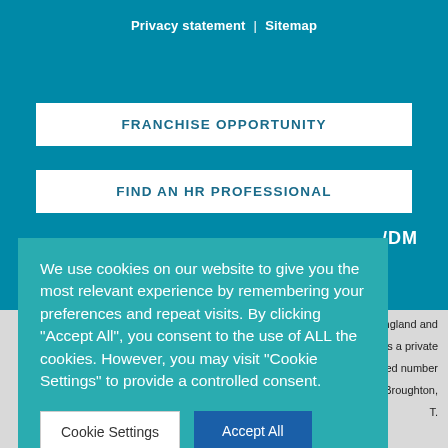Privacy statement | Sitemap
FRANCHISE OPPORTUNITY
FIND AN HR PROFESSIONAL
VDM
We use cookies on our website to give you the most relevant experience by remembering your preferences and repeat visits. By clicking "Accept All", you consent to the use of ALL the cookies. However, you may visit "Cookie Settings" to provide a controlled consent.
Cookie Settings
Accept All
d in England and
rtners is a private
gistered number
oad, Broughton,
T.